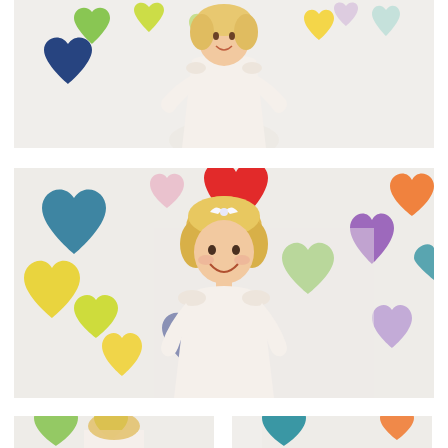[Figure (photo): Toddler girl in white dress standing in front of a white wall decorated with colorful painted hearts in green, blue, yellow, purple, red, and other colors. Wide landscape crop.]
[Figure (photo): Same toddler girl in white dress smiling at camera, standing in front of colorful heart-covered white wall. Closer portrait crop showing more hearts including teal, red, green, yellow, purple, orange.]
[Figure (photo): Bottom-left partial crop: colorful hearts backdrop with toddler girl, cropped at bottom edge.]
[Figure (photo): Bottom-right partial crop: colorful hearts backdrop, teal heart visible, cropped at bottom edge.]